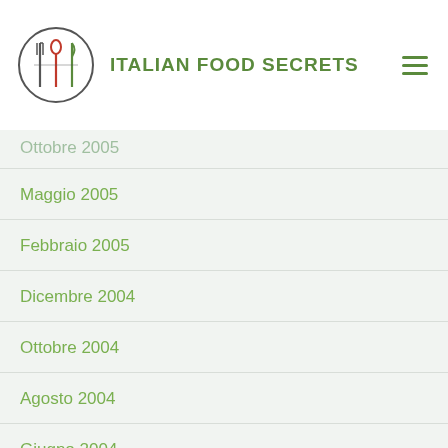ITALIAN FOOD SECRETS
Ottobre 2005
Maggio 2005
Febbraio 2005
Dicembre 2004
Ottobre 2004
Agosto 2004
Giugno 2004
Aprile 2004
Marzo 2004